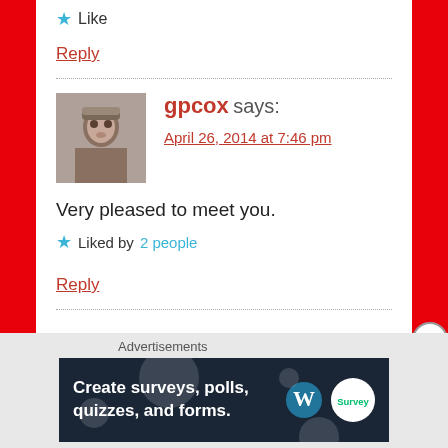★ Like
Reply
gpcox says:
April 26, 2014 at 7:46 pm
Very pleased to meet you.
★ Liked by 2 people
Reply
[Figure (photo): Avatar photo of gpcox - grayscale portrait of a person]
Advertisements
[Figure (screenshot): Advertisement banner: Create surveys, polls, quizzes, and forms. WordPress and SurveyMonkey logos on dark navy background.]